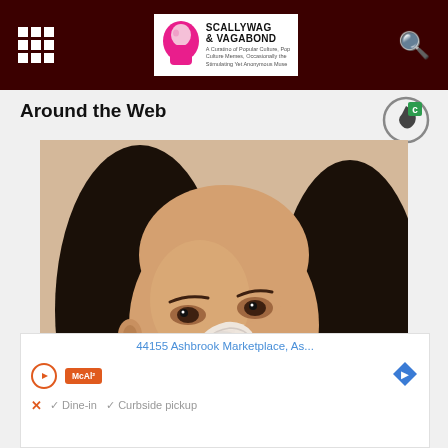Scallywag & Vagabond — website header with hamburger menu and search icon
Around the Web
[Figure (photo): A young woman applying white paste/cream to her nose area using a toothbrush, looking upward. She has long dark hair and is wearing a light polka-dot top. The photo appears to be a skincare tutorial screenshot.]
Mole A...
44155 Ashbrook Marketplace, As...
Dine-in  ✓ Curbside pickup